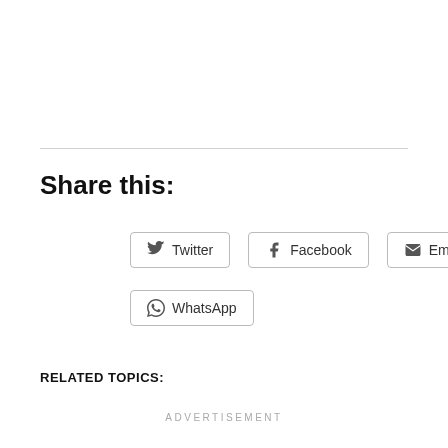Share this:
Twitter   Facebook   Email   WhatsApp
RELATED TOPICS:
ADVERTISEMENT